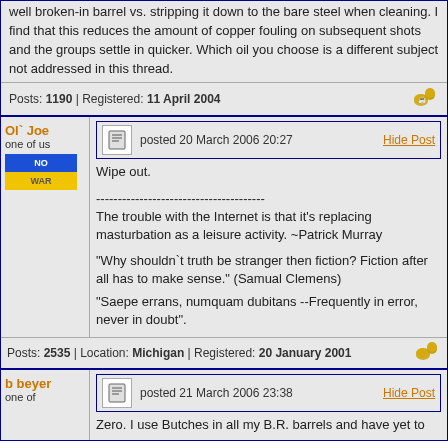well broken-in barrel vs. stripping it down to the bare steel when cleaning. I find that this reduces the amount of copper fouling on subsequent shots and the groups settle in quicker. Which oil you choose is a different subject not addressed in this thread.
Posts: 1190 | Registered: 11 April 2004
Ol` Joe
one of us
posted 20 March 2006 20:27
Hide Post
Wipe out.
---------------------------------------
The trouble with the Internet is that it's replacing masturbation as a leisure activity. ~Patrick Murray

"Why shouldn`t truth be stranger then fiction? Fiction after all has to make sense." (Samual Clemens)

"Saepe errans, numquam dubitans --Frequently in error, never in doubt".
Posts: 2535 | Location: Michigan | Registered: 20 January 2001
b beyer
one of
posted 21 March 2006 23:38
Hide Post
Zero. I use Butches in all my B.R. barrels and have yet to